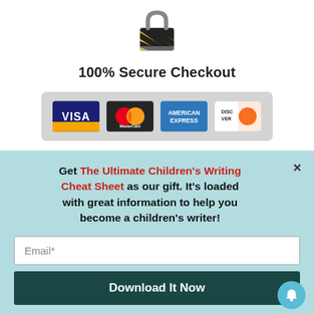[Figure (illustration): A padlock icon with yellow and black hazard stripes, representing security]
100% Secure Checkout
[Figure (illustration): Payment method badges: Visa, MasterCard, American Express, Discover on a grey rounded rectangle background]
Get The Ultimate Children's Writing Cheat Sheet as our gift. It's loaded with great information to help you become a children's writer!
Email*
Download It Now